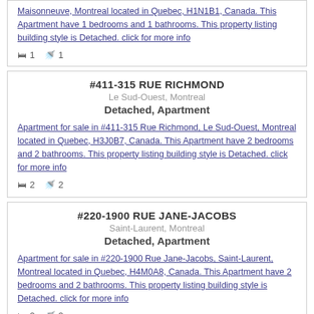Maisonneuve, Montreal located in Quebec, H1N1B1, Canada. This Apartment have 1 bedrooms and 1 bathrooms. This property listing building style is Detached. click for more info
🛏 1  🚿 1
#411-315 RUE RICHMOND
Le Sud-Ouest, Montreal
Detached, Apartment
Apartment for sale in #411-315 Rue Richmond, Le Sud-Ouest, Montreal located in Quebec, H3J0B7, Canada. This Apartment have 2 bedrooms and 2 bathrooms. This property listing building style is Detached. click for more info
🛏 2  🚿 2
#220-1900 RUE JANE-JACOBS
Saint-Laurent, Montreal
Detached, Apartment
Apartment for sale in #220-1900 Rue Jane-Jacobs, Saint-Laurent, Montreal located in Quebec, H4M0A8, Canada. This Apartment have 2 bedrooms and 2 bathrooms. This property listing building style is Detached. click for more info
🛏 2  🚿 2